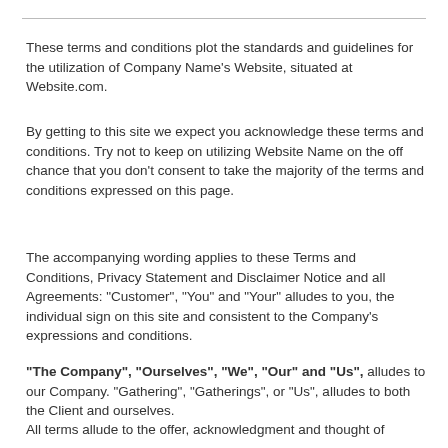These terms and conditions plot the standards and guidelines for the utilization of Company Name's Website, situated at Website.com.
By getting to this site we expect you acknowledge these terms and conditions. Try not to keep on utilizing Website Name on the off chance that you don't consent to take the majority of the terms and conditions expressed on this page.
The accompanying wording applies to these Terms and Conditions, Privacy Statement and Disclaimer Notice and all Agreements: "Customer", "You" and "Your" alludes to you, the individual sign on this site and consistent to the Company's expressions and conditions.
"The Company", "Ourselves", "We", "Our" and "Us", alludes to our Company. "Gathering", "Gatherings", or "Us", alludes to both the Client and ourselves.
All terms allude to the offer, acknowledgment and thought of